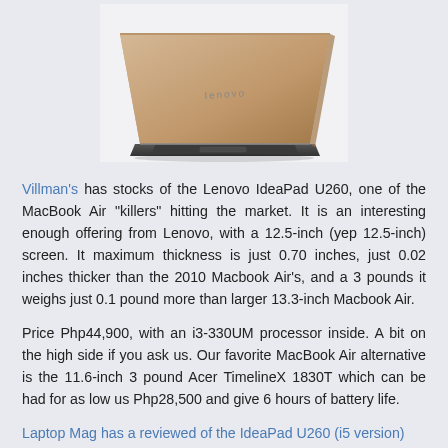[Figure (photo): Photo of a Lenovo IdeaPad U260 laptop, shown from the back/side angle, with a rose-gold/champagne colored lid and dark keyboard base, on white background.]
Villman's has stocks of the Lenovo IdeaPad U260, one of the MacBook Air "killers" hitting the market. It is an interesting enough offering from Lenovo, with a 12.5-inch (yep 12.5-inch) screen. It maximum thickness is just 0.70 inches, just 0.02 inches thicker than the 2010 Macbook Air's, and a 3 pounds it weighs just 0.1 pound more than larger 13.3-inch Macbook Air.
Price Php44,900, with an i3-330UM processor inside. A bit on the high side if you ask us. Our favorite MacBook Air alternative is the 11.6-inch 3 pound Acer TimelineX 1830T which can be had for as low us Php28,500 and give 6 hours of battery life.
Laptop Mag has a reviewed of the IdeaPad U260 (i5 version)